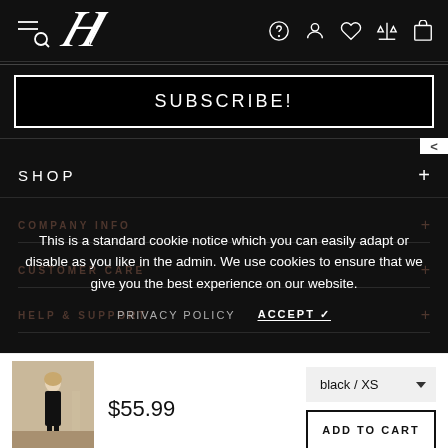[Figure (screenshot): Website navigation bar with hamburger/search icon, stylized H logo, and icons for help, account, wishlist, compare, and cart on dark background]
[Figure (screenshot): SUBSCRIBE! call-to-action button with white border on black background]
SHOP +
COMPANY INFO +
CUSTOMER CARE +
HELP & SUPPORT +
This is a standard cookie notice which you can easily adapt or disable as you like in the admin. We use cookies to ensure that we give you the best experience on our website.
PRIVACY POLICY   ACCEPT ✓
[Figure (photo): Small thumbnail of a woman in a black dress outdoors]
$55.99
black / XS
ADD TO CART